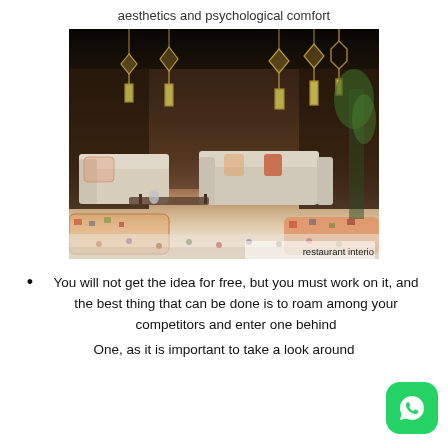aesthetics and psychological comfort
[Figure (photo): Interior of a restaurant with dark ceiling, hanging geometric pendant lights, lush patterned upholstered seating, colorful ottomans and rugs on the floor. Caption reads 'restaurant interio'.]
You will not get the idea for free, but you must work on it, and the best thing that can be done is to roam among your competitors and enter one behind
One, as it is important to take a look around